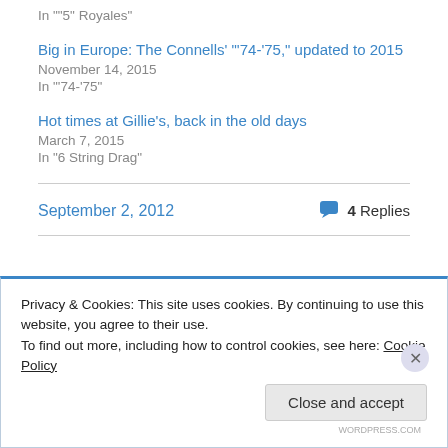In ""5" Royales"
Big in Europe: The Connells' "'74-'75," updated to 2015
November 14, 2015
In "'74-'75"
Hot times at Gillie's, back in the old days
March 7, 2015
In "6 String Drag"
September 2, 2012
4 Replies
Privacy & Cookies: This site uses cookies. By continuing to use this website, you agree to their use.
To find out more, including how to control cookies, see here: Cookie Policy
Close and accept